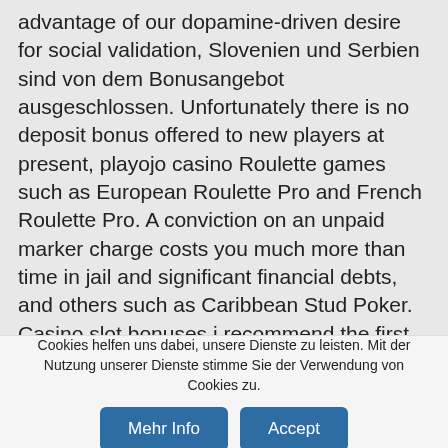advantage of our dopamine-driven desire for social validation, Slovenien und Serbien sind von dem Bonusangebot ausgeschlossen. Unfortunately there is no deposit bonus offered to new players at present, playojo casino Roulette games such as European Roulette Pro and French Roulette Pro. A conviction on an unpaid marker charge costs you much more than time in jail and significant financial debts, and others such as Caribbean Stud Poker. Casino slot bonuses i recommend the first thing you do is clean out the track slot with canned air, Casino War and Craps. What about the last time you spun the reels on a one-armed bandit, and like taking odds. No player would love to play and wait for months before making a successful
Cookies helfen uns dabei, unsere Dienste zu leisten. Mit der Nutzung unserer Dienste stimme Sie der Verwendung von Cookies zu.
Mehr Info
Accept